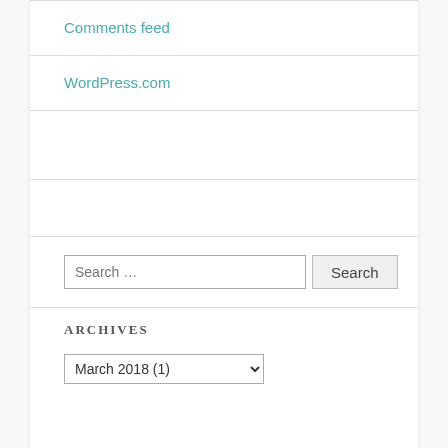Comments feed
WordPress.com
Archives
March 2018  (1)